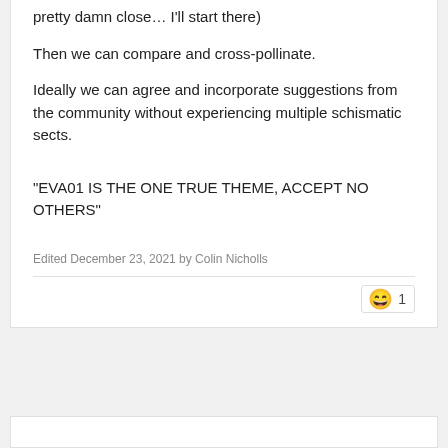pretty damn close… I'll start there)
Then we can compare and cross-pollinate.
Ideally we can agree and incorporate suggestions from the community without experiencing multiple schismatic sects.
"EVA01 IS THE ONE TRUE THEME, ACCEPT NO OTHERS"
Edited December 23, 2021 by Colin Nicholls